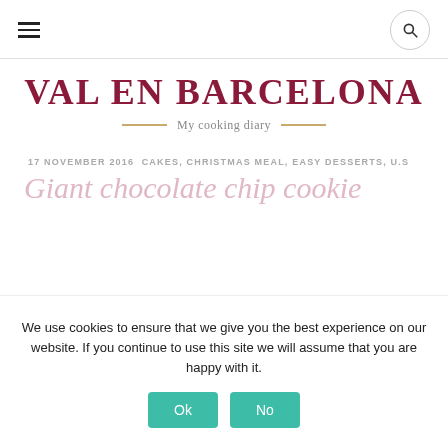VAL EN BARCELONA — My cooking diary
17 NOVEMBER 2016CAKES, CHRISTMAS MEAL, EASY DESSERTS, U.S
Giant chocolate chip cookie
We use cookies to ensure that we give you the best experience on our website. If you continue to use this site we will assume that you are happy with it.
Ok   No